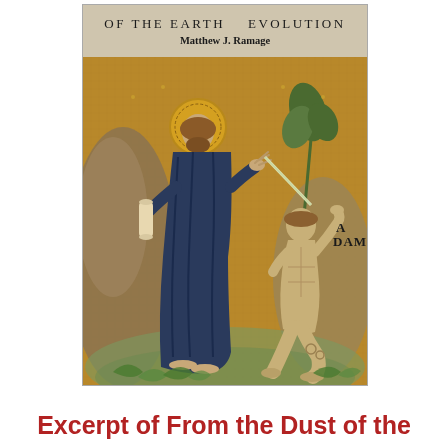[Figure (photo): Book cover of 'From the Dust of the Earth: Evolution' by Matthew J. Ramage. The cover features a Byzantine-style mosaic depicting a robed figure with a halo (Christ) breathing life into Adam, who is seated and labeled 'ADAM'. Background is gold mosaic with vegetation and rocky landscape.]
Excerpt of From the Dust of the